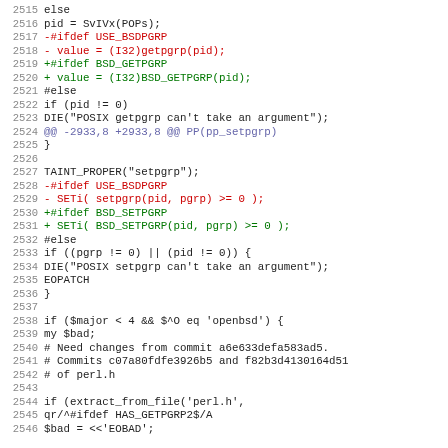[Figure (screenshot): Source code diff showing lines 2515-2546 of a Perl/C patch file with line numbers, removed lines marked with minus signs (red), added lines with plus signs (green), hunk headers, and context lines.]